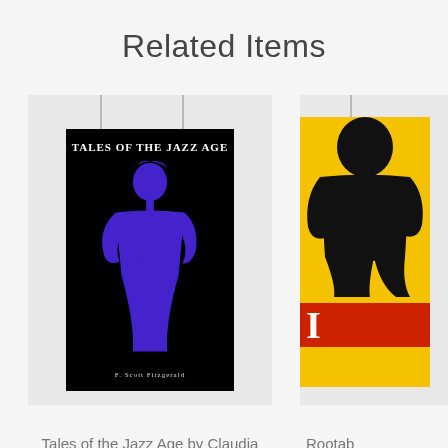Related Items
[Figure (illustration): Book cover for 'Tales of the Jazz Age' by F. Scott Fitzgerald — black background with a blue silhouetted figure of a woman, shown hanging from wires in a light gray display frame]
[Figure (illustration): Partially visible book cover with yellow background, black silhouette, and red band with a letter — shown hanging from wires, partially cropped at right edge]
Tales of the Jazz Age by Claudia Corletto
$29.99
Rootab